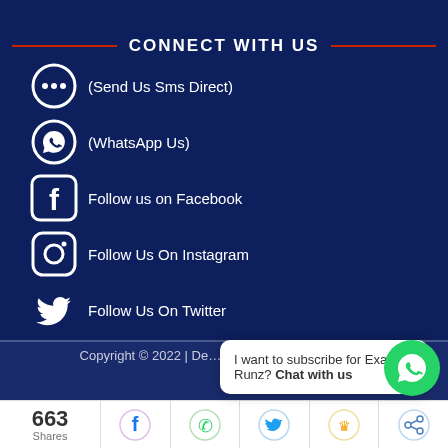CONNECT WITH US
(Send Us Sms Direct)
(WhatsApp Us)
Follow us on Facebook
Follow Us On Instagram
Follow Us On Twitter
3 ONLINE
Copyright © 2022 | De... .Ng
I want to subscribe for Exam Runz? Chat with us
663 Shares